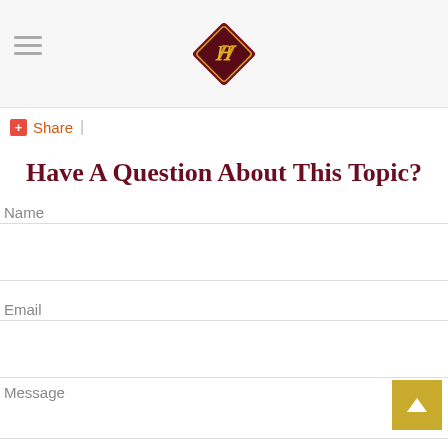H (logo)
+ Share |
Have A Question About This Topic?
Name
Email
Message